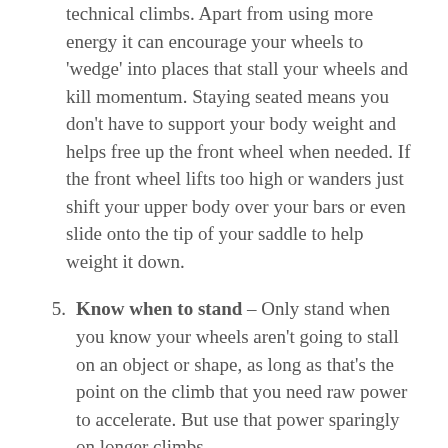technical climbs. Apart from using more energy it can encourage your wheels to 'wedge' into places that stall your wheels and kill momentum. Staying seated means you don't have to support your body weight and helps free up the front wheel when needed. If the front wheel lifts too high or wanders just shift your upper body over your bars or even slide onto the tip of your saddle to help weight it down.
Know when to stand – Only stand when you know your wheels aren't going to stall on an object or shape, as long as that's the point on the climb that you need raw power to accelerate. But use that power sparingly on longer climbs.
Use a solid cadence – Using an easier gear is always tempting when climbing. Spinning away like a road cyclist is efficient on smooth ground with no obstacles in the way. But as soon as you need to negotiate